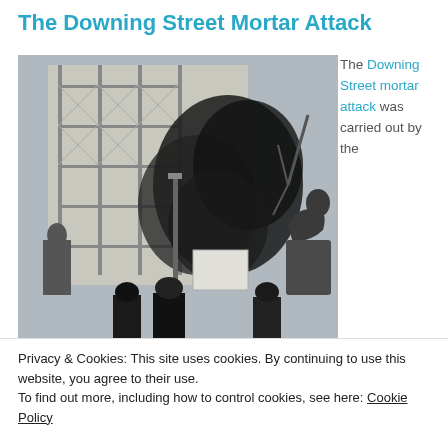The Downing Street Mortar Attack
[Figure (photo): Photograph showing a large black smoke cloud near Downing Street, London, with scaffolding on a building in the background, statues visible, and police officers in the foreground.]
The Downing Street mortar attack was carried out by the
Privacy & Cookies: This site uses cookies. By continuing to use this website, you agree to their use.
To find out more, including how to control cookies, see here: Cookie Policy
Close and accept
10 Downing Street, London, the headquarters of the